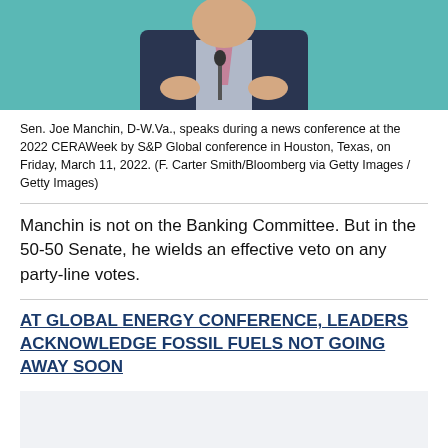[Figure (photo): Sen. Joe Manchin at a podium in a dark suit and tie, teal/turquoise background, 2022 CERAWeek conference]
Sen. Joe Manchin, D-W.Va., speaks during a news conference at the 2022 CERAWeek by S&P Global conference in Houston, Texas, on Friday, March 11, 2022. (F. Carter Smith/Bloomberg via Getty Images / Getty Images)
Manchin is not on the Banking Committee. But in the 50-50 Senate, he wields an effective veto on any party-line votes.
AT GLOBAL ENERGY CONFERENCE, LEADERS ACKNOWLEDGE FOSSIL FUELS NOT GOING AWAY SOON
[Figure (other): Advertisement placeholder block]
Nevertheless, the White House says it isn't pulling Raskin's nomination. It said she "earned widespread support in the face of an unprecedented, baseless campaign led by oil…